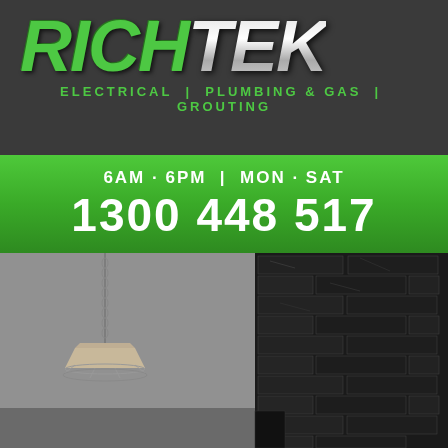[Figure (logo): RICHTEK logo with green RICH and metallic TEK text, italic bold style]
ELECTRICAL | PLUMBING & GAS | GROUTING
6AM - 6PM | MON - SAT
1300 448 517
[Figure (photo): Interior bathroom/room photo showing pendant light hanging from chain on left against grey wall, and dark black marble/stone brick tile wall on right side]